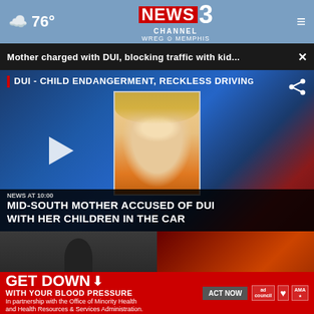76° NEWS 3 CHANNEL WREG MEMPHIS
Mother charged with DUI, blocking traffic with kid... ×
[Figure (screenshot): TV news broadcast screenshot showing mugshot of blonde woman accused of DUI with children in car, with chyron text 'DUI - CHILD ENDANGERMENT, RECKLESS DRIVING' and lower chyron 'MID-SOUTH MOTHER ACCUSED OF DUI WITH HER CHILDREN IN THE CAR']
MSCS expected to make interim
Police called incidents by
GET DOWN WITH YOUR BLOOD PRESSURE In partnership with the Office of Minority Health and Health Resources & Services Administration. ACT NOW